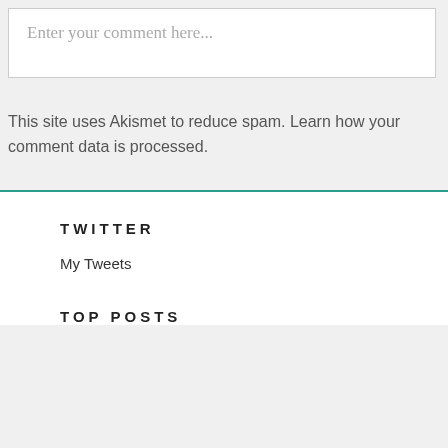Enter your comment here...
This site uses Akismet to reduce spam. Learn how your comment data is processed.
TWITTER
My Tweets
TOP POSTS